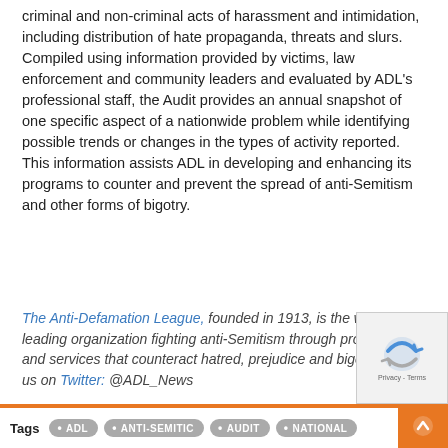criminal and non-criminal acts of harassment and intimidation, including distribution of hate propaganda, threats and slurs. Compiled using information provided by victims, law enforcement and community leaders and evaluated by ADL's professional staff, the Audit provides an annual snapshot of one specific aspect of a nationwide problem while identifying possible trends or changes in the types of activity reported. This information assists ADL in developing and enhancing its programs to counter and prevent the spread of anti-Semitism and other forms of bigotry.
The Anti-Defamation League, founded in 1913, is the world's leading organization fighting anti-Semitism through programs and services that counteract hatred, prejudice and bigotry. Follow us on Twitter: @ADL_News
Tags  ADL  ANTI-SEMITIC  AUDIT  NATIONAL